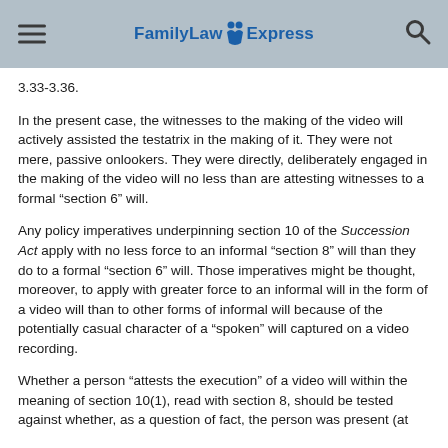FamilyLaw Express
3.33-3.36.
In the present case, the witnesses to the making of the video will actively assisted the testatrix in the making of it. They were not mere, passive onlookers. They were directly, deliberately engaged in the making of the video will no less than are attesting witnesses to a formal “section 6” will.
Any policy imperatives underpinning section 10 of the Succession Act apply with no less force to an informal “section 8” will than they do to a formal “section 6” will. Those imperatives might be thought, moreover, to apply with greater force to an informal will in the form of a video will than to other forms of informal will because of the potentially casual character of a “spoken” will captured on a video recording.
Whether a person “attests the execution” of a video will within the meaning of section 10(1), read with section 8, should be tested against whether, as a question of fact, the person was present (at